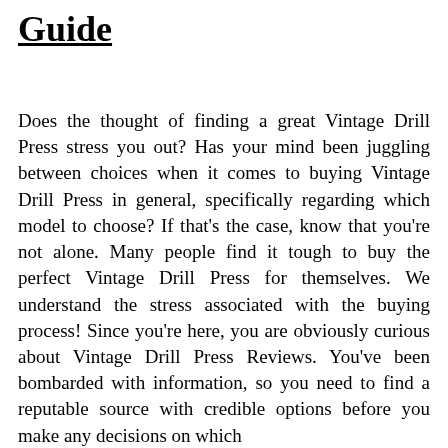Guide
Does the thought of finding a great Vintage Drill Press stress you out? Has your mind been juggling between choices when it comes to buying Vintage Drill Press in general, specifically regarding which model to choose? If that's the case, know that you're not alone. Many people find it tough to buy the perfect Vintage Drill Press for themselves. We understand the stress associated with the buying process! Since you're here, you are obviously curious about Vintage Drill Press Reviews. You've been bombarded with information, so you need to find a reputable source with credible options before you make any decisions on which